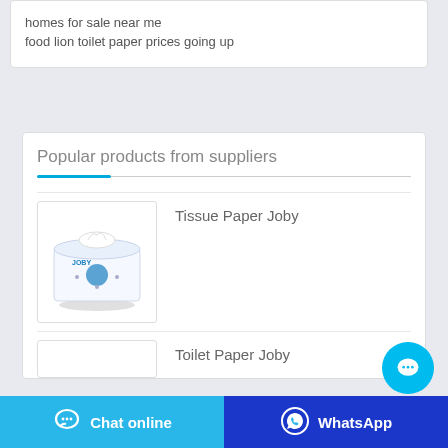homes for sale near me
food lion toilet paper prices going up
Popular products from suppliers
[Figure (photo): Product image of Tissue Paper Joby box with tissues coming out, white box with blue JOBY branding]
Tissue Paper Joby
Toilet Paper Joby